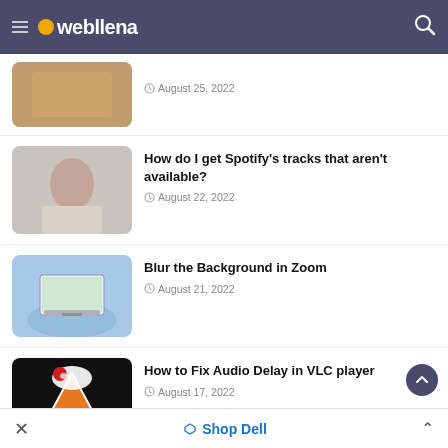webllena
August 25, 2022
How do I get Spotify's tracks that aren't available?
August 22, 2022
Blur the Background in Zoom
August 21, 2022
How to Fix Audio Delay in VLC player
August 17, 2022
Shop Dell